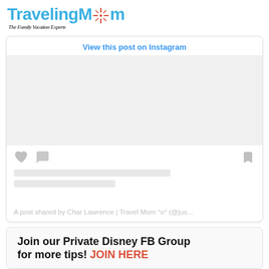[Figure (logo): TravelingMom logo with compass star icon and subtitle 'The Family Vacation Experts']
[Figure (screenshot): Instagram embed card showing 'View this post on Instagram' link, placeholder image area, social icons (heart, comment, bookmark), gray text lines, and caption 'A post shared by Char Lawrence | Travel Mom °o° (@jus...']
Join our Private Disney FB Group for more tips! JOIN HERE